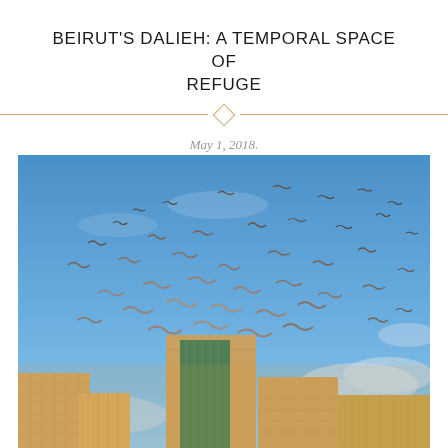BEIRUT'S DALIEH: A TEMPORAL SPACE OF REFUGE
May 1, 2018.
Reading time 13 minutes.
[Figure (photo): Flock of birds flying over Beirut skyline with tall apartment buildings under a blue sky with clouds]